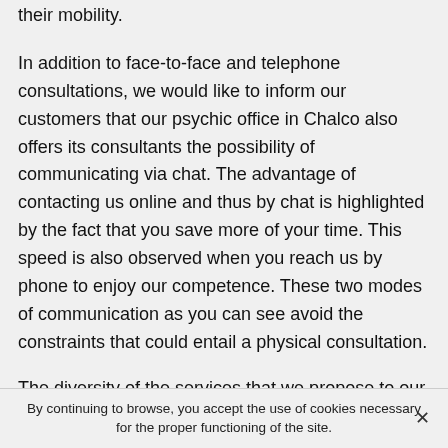their mobility.
In addition to face-to-face and telephone consultations, we would like to inform our customers that our psychic office in Chalco also offers its consultants the possibility of communicating via chat. The advantage of contacting us online and thus by chat is highlighted by the fact that you save more of your time. This speed is also observed when you reach us by phone to enjoy our competence. These two modes of communication as you can see avoid the constraints that could entail a physical consultation.
The diversity of the services that we propose to our customers is a proof of a better handling. Thus, our cabinet of mediums in Chalco will propose to you according to your problems of the services in astrology, in numerology or in tarology. Thus, our services are multiplied tenfold so that the customers have a maximum of possible results.
By continuing to browse, you accept the use of cookies necessary for the proper functioning of the site.